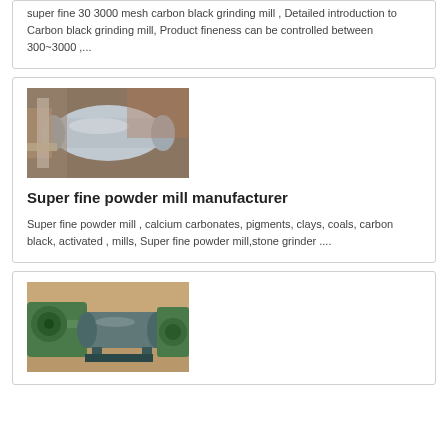super fine 30 3000 mesh carbon black grinding mill , Detailed introduction to Carbon black grinding mill, Product fineness can be controlled between 300~3000 ,...
[Figure (photo): Industrial grinding mill machinery with metallic rollers and components in a factory setting]
Super fine powder mill manufacturer
Super fine powder mill , calcium carbonates, pigments, clays, coals, carbon black, activated , mills, Super fine powder mill,stone grinder ....
[Figure (photo): Industrial ball mill or grinding machine in green color inside a factory/workshop]